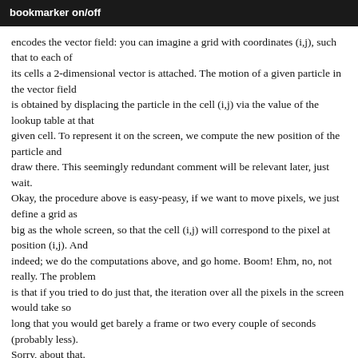bookmarker on/off
encodes the vector field: you can imagine a grid with coordinates (i,j), such that to each of its cells a 2-dimensional vector is attached. The motion of a given particle in the vector field is obtained by displacing the particle in the cell (i,j) via the value of the lookup table at that given cell. To represent it on the screen, we compute the new position of the particle and draw there. This seemingly redundant comment will be relevant later, just wait. Okay, the procedure above is easy-peasy, if we want to move pixels, we just define a grid as big as the whole screen, so that the cell (i,j) will correspond to the pixel at position (i,j). And indeed; we do the computations above, and go home. Boom! Ehm, no, not really. The problem is that if you tried to do just that, the iteration over all the pixels in the screen would take so long that you would get barely a frame or two every couple of seconds (probably less). Sorry, about that. Enter shaders! We can indeed use the GPU to perform all these calculations via a custom-made fragment shader. First, we need to sort out how to send the information contained in the lookup table to the shader. Since the table is nothing else than a two-dimensional array, we can write the value of the field directly in a texture. On modern graphic cards, textures are very quick to upload, and we can upload more than one. Wait a minute, aren't textures supposed to be used for… colors and stuff? Yes, but. A texture is nothing else that a container for data: more precisely, at each of its coordinate, it contains the value of red, green, blue, and alpha which will be combined to provide the color for the pixel at the given coordinate. We can then use two of the color channels to provide the x and y component of a vec…